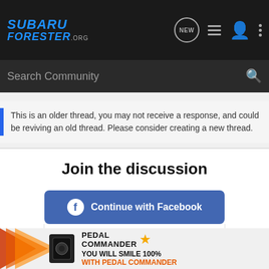[Figure (screenshot): Subaru Forester .org website header navigation bar with logo, NEW bubble icon, list icon, user icon, and dots menu icon]
[Figure (screenshot): Search Community search bar with magnifying glass icon]
This is an older thread, you may not receive a response, and could be reviving an old thread. Please consider creating a new thread.
Join the discussion
Continue with Facebook
Continue with Google
or sign up with email
[Figure (photo): Pedal Commander advertisement banner: device graphic with orange arrow graphics, Pedal Commander logo with star, text YOU WILL SMILE 100% WITH PEDAL COMMANDER in orange]